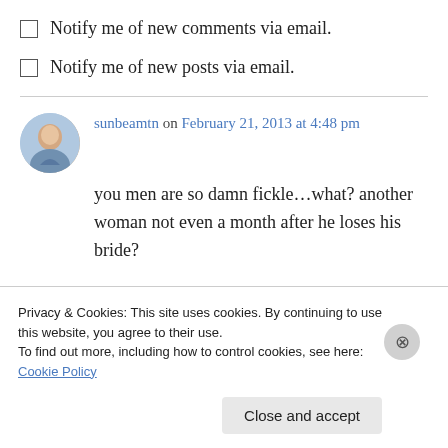Notify me of new comments via email.
Notify me of new posts via email.
sunbeamtn on February 21, 2013 at 4:48 pm
you men are so damn fickle…what? another woman not even a month after he loses his bride?
You can play this one into a serial…..boy meets
Privacy & Cookies: This site uses cookies. By continuing to use this website, you agree to their use. To find out more, including how to control cookies, see here: Cookie Policy